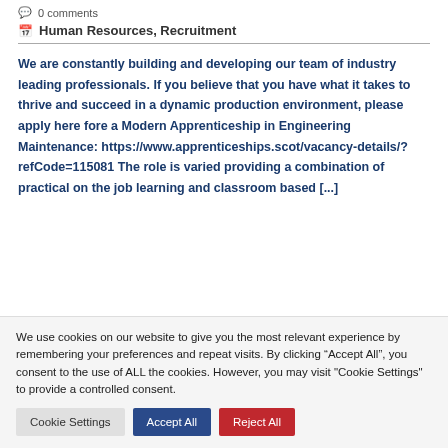0 comments
Human Resources, Recruitment
We are constantly building and developing our team of industry leading professionals. If you believe that you have what it takes to thrive and succeed in a dynamic production environment, please apply here fore a Modern Apprenticeship in Engineering Maintenance: https://www.apprenticeships.scot/vacancy-details/?refCode=115081 The role is varied providing a combination of practical on the job learning and classroom based [...]
We use cookies on our website to give you the most relevant experience by remembering your preferences and repeat visits. By clicking “Accept All”, you consent to the use of ALL the cookies. However, you may visit "Cookie Settings" to provide a controlled consent.